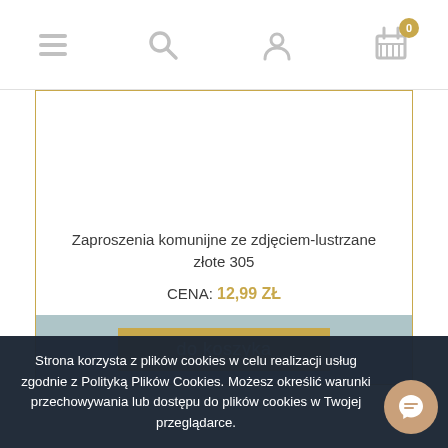[Figure (screenshot): Navigation bar with hamburger menu, search icon, user icon, and shopping cart icon with badge showing 0]
Zaproszenia komunijne ze zdjęciem-lustrzane złote 305
CENA: 12,99 ZŁ
do koszyka
Strona korzysta z plików cookies w celu realizacji usług zgodnie z Polityką Plików Cookies. Możesz określić warunki przechowywania lub dostępu do plików cookies w Twojej przeglądarce.